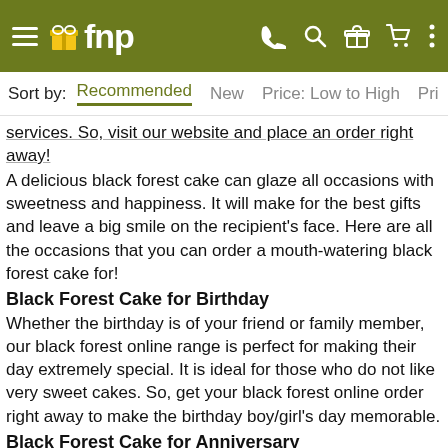≡ 🎁 fnp  📞 🔍 🎁 🛒 ⋮
Sort by:  Recommended  New  Price: Low to High  Pri
services. So, visit our website and place an order right away! A delicious black forest cake can glaze all occasions with sweetness and happiness. It will make for the best gifts and leave a big smile on the recipient's face. Here are all the occasions that you can order a mouth-watering black forest cake for!
Black Forest Cake for Birthday
Whether the birthday is of your friend or family member, our black forest online range is perfect for making their day extremely special. It is ideal for those who do not like very sweet cakes. So, get your black forest online order right away to make the birthday boy/girl's day memorable.
Black Forest Cake for Anniversary
Get ready to woo your beloved on your anniversary by surprising her/him with a black forest anniversary cake that